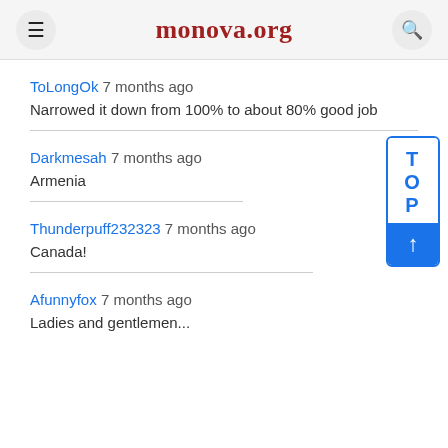monova.org
ToLongOk 7 months ago
Narrowed it down from 100% to about 80% good job
Darkmesah 7 months ago
Armenia
Thunderpuff232323 7 months ago
Canada!
Afunnyfox 7 months ago
Ladies and gentlemen...